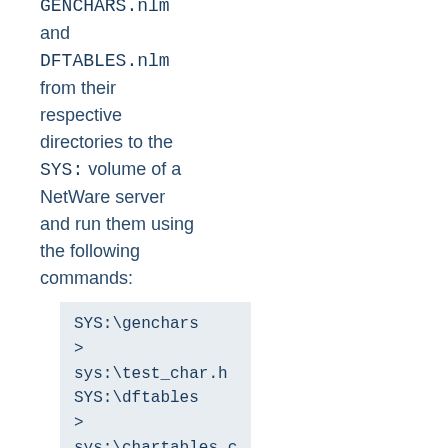Copy the files GENCHARS.nlm and DFTABLES.nlm from their respective directories to the SYS: volume of a NetWare server and run them using the following commands:
SYS:\genchars
>
sys:\test_char.h
SYS:\dftables
>
sys:\chartables.c
Copy the files test_char.h and chartables.c to the directory \httpd-conf\src\